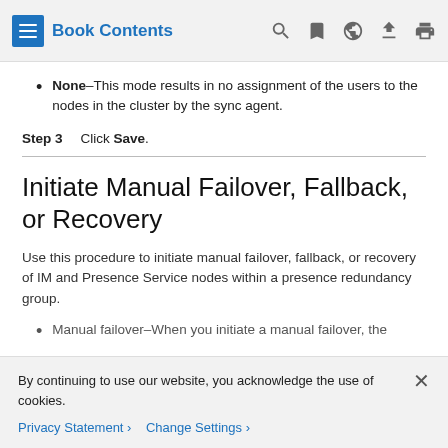Book Contents
None–This mode results in no assignment of the users to the nodes in the cluster by the sync agent.
Step 3  Click Save.
Initiate Manual Failover, Fallback, or Recovery
Use this procedure to initiate manual failover, fallback, or recovery of IM and Presence Service nodes within a presence redundancy group.
Manual failover–When you initiate a manual failover, the
By continuing to use our website, you acknowledge the use of cookies.
Privacy Statement > Change Settings >